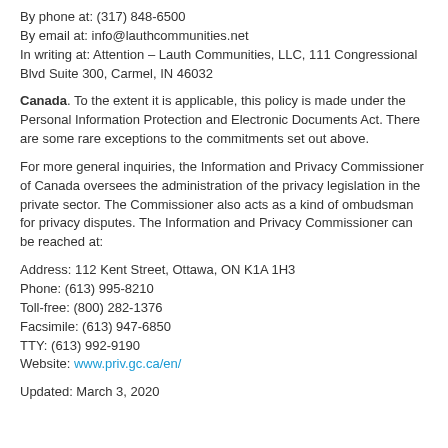By phone at: (317) 848-6500
By email at: info@lauthcommunities.net
In writing at: Attention – Lauth Communities, LLC, 111 Congressional Blvd Suite 300, Carmel, IN 46032
Canada. To the extent it is applicable, this policy is made under the Personal Information Protection and Electronic Documents Act. There are some rare exceptions to the commitments set out above.
For more general inquiries, the Information and Privacy Commissioner of Canada oversees the administration of the privacy legislation in the private sector. The Commissioner also acts as a kind of ombudsman for privacy disputes. The Information and Privacy Commissioner can be reached at:
Address: 112 Kent Street, Ottawa, ON K1A 1H3
Phone: (613) 995-8210
Toll-free: (800) 282-1376
Facsimile: (613) 947-6850
TTY: (613) 992-9190
Website: www.priv.gc.ca/en/
Updated: March 3, 2020